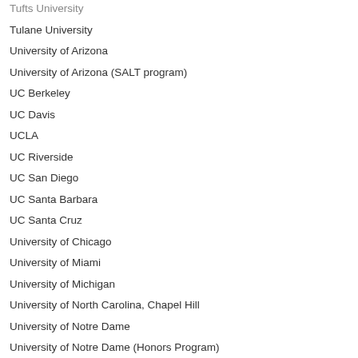Tufts University
Tulane University
University of Arizona
University of Arizona (SALT program)
UC Berkeley
UC Davis
UCLA
UC Riverside
UC San Diego
UC Santa Barbara
UC Santa Cruz
University of Chicago
University of Miami
University of Michigan
University of North Carolina, Chapel Hill
University of Notre Dame
University of Notre Dame (Honors Program)
University of Oregon, Eugene University of the Pacific